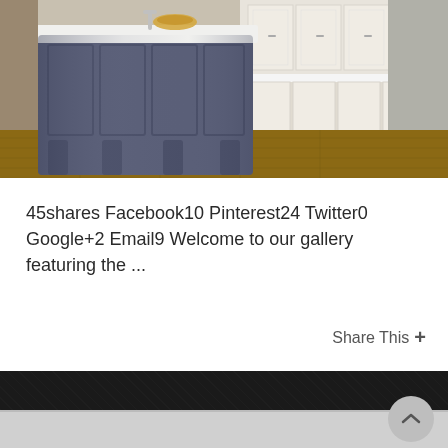[Figure (photo): Kitchen interior showing a large dark blue/grey island with white marble countertop, white cabinetry in background, hardwood floors]
45shares Facebook10 Pinterest24 Twitter0 Google+2 Email9 Welcome to our gallery featuring the ...
Share This +
JUL 07
♥ 2   👁 4990
🏷 Backsplash, Cabinet, Countertop, Kitchen